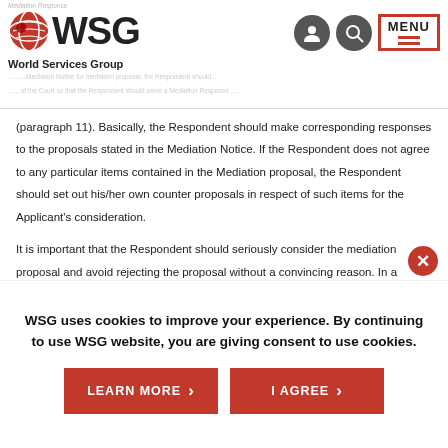WSG World Services Group
(paragraph 11). Basically, the Respondent should make corresponding responses to the proposals stated in the Mediation Notice. If the Respondent does not agree to any particular items contained in the Mediation proposal, the Respondent should set out his/her own counter proposals in respect of such items for the Applicant's consideration.
It is important that the Respondent should seriously consider the mediation proposal and avoid rejecting the proposal without a convincing reason. In a recent case (Leung Catherine v Tary Ltd [2009] HKEC 1669), the defendants had rejected the plaintiff's invitation to mediate on the basis that "the proceedings had reached an advanced stage" and "the issue of liability is in dispute". The Honourable Mr Justice Fung rejected both
WSG uses cookies to improve your experience. By continuing to use WSG website, you are giving consent to use cookies.
LEARN MORE
I AGREE